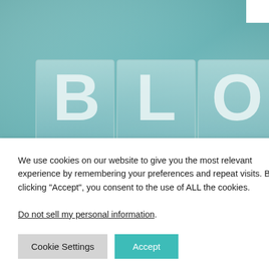[Figure (illustration): Hero image showing letterpress blocks spelling BLOG on a teal/blue-green background]
We use cookies on our website to give you the most relevant experience by remembering your preferences and repeat visits. By clicking “Accept”, you consent to the use of ALL the cookies.
Do not sell my personal information.
Cookie Settings
Accept
be
blogging
Message